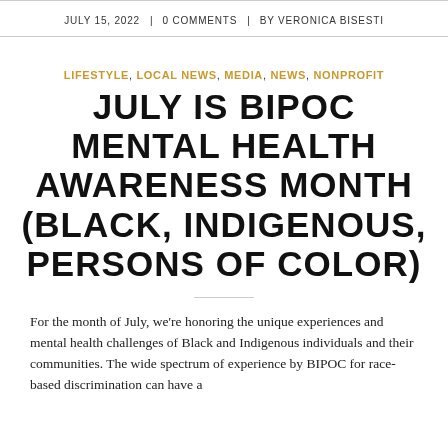JULY 15, 2022 | 0 COMMENTS | BY VERONICA BISESTI
LIFESTYLE, LOCAL NEWS, MEDIA, NEWS, NONPROFIT
JULY IS BIPOC MENTAL HEALTH AWARENESS MONTH (BLACK, INDIGENOUS, PERSONS OF COLOR)
For the month of July, we're honoring the unique experiences and mental health challenges of Black and Indigenous individuals and their communities. The wide spectrum of experience by BIPOC for race-based discrimination can have a